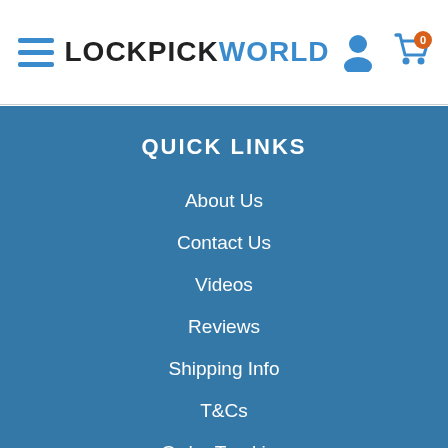LOCKPICKWORLD header with hamburger menu, user icon, and cart icon showing 0
QUICK LINKS
About Us
Contact Us
Videos
Reviews
Shipping Info
T&Cs
Order Tracking